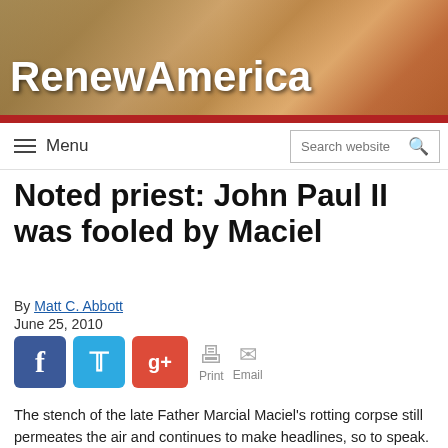[Figure (logo): RenewAmerica website banner with historical painting background and white bold text logo]
Menu | Search website
Noted priest: John Paul II was fooled by Maciel
By Matt C. Abbott
June 25, 2010
[Figure (infographic): Social share buttons: Facebook, Twitter, Google+, Print, Email]
The stench of the late Father Marcial Maciel's rotting corpse still permeates the air and continues to make headlines, so to speak.
What struck (and disturbed) me was a recent quote by Maciel's son — whom Maciel reportedly abused — Raul Gonzalez, who said: "My dad [Maciel] told my mom that when John Paul II dies